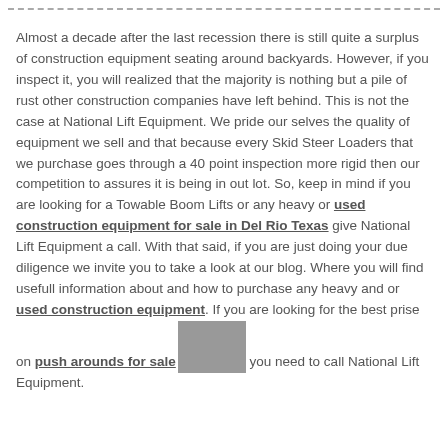Almost a decade after the last recession there is still quite a surplus of construction equipment seating around backyards. However, if you inspect it, you will realized that the majority is nothing but a pile of rust other construction companies have left behind. This is not the case at National Lift Equipment. We pride our selves the quality of equipment we sell and that because every Skid Steer Loaders that we purchase goes through a 40 point inspection more rigid then our competition to assures it is being in out lot. So, keep in mind if you are looking for a Towable Boom Lifts or any heavy or used construction equipment for sale in Del Rio Texas give National Lift Equipment a call. With that said, if you are just doing your due diligence we invite you to take a look at our blog. Where you will find usefull information about and how to purchase any heavy and or used construction equipment. If you are looking for the best prise on push arounds for sale you need to call National Lift Equipment.